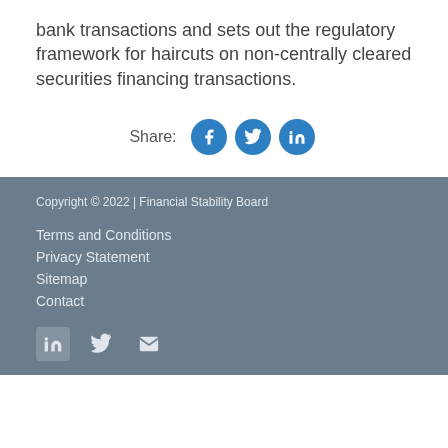bank transactions and sets out the regulatory framework for haircuts on non-centrally cleared securities financing transactions.
Share:
Copyright © 2022 | Financial Stability Board
Terms and Conditions
Privacy Statement
Sitemap
Contact